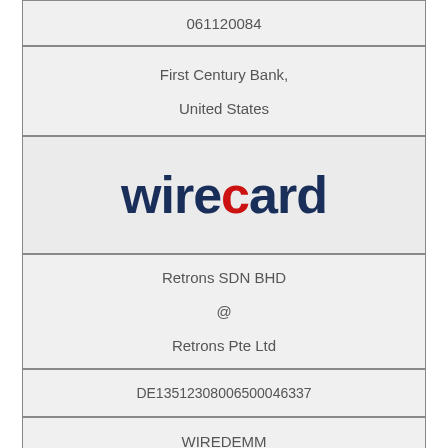061120084
First Century Bank,
United States
[Figure (logo): Wirecard logo in dark navy blue text with a red dot above the letter i]
Retrons SDN BHD
@
Retrons Pte Ltd
DE13512308006500046337
WIREDEMM
WireCard,
Germany